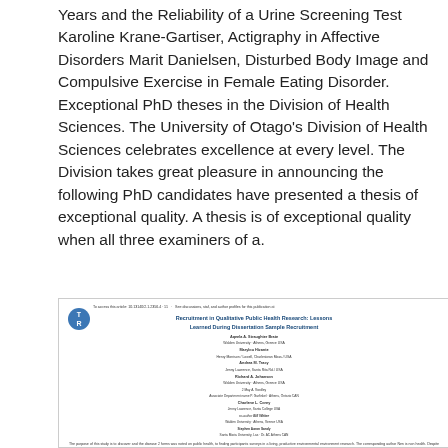Years and the Reliability of a Urine Screening Test Karoline Krane-Gartiser, Actigraphy in Affective Disorders Marit Danielsen, Disturbed Body Image and Compulsive Exercise in Female Eating Disorder. Exceptional PhD theses in the Division of Health Sciences. The University of Otago's Division of Health Sciences celebrates excellence at every level. The Division takes great pleasure in announcing the following PhD candidates have presented a thesis of exceptional quality. A thesis is of exceptional quality when all three examiners of a.
[Figure (screenshot): Thumbnail of an academic journal article titled 'Recruitment in Qualitative Public Health Research: Lessons Learned During Dissertation Sample Recruitment' with author names, institutional affiliations, and abstract text. A blue circular logo with 'T' and 'R' letters appears on the left side.]